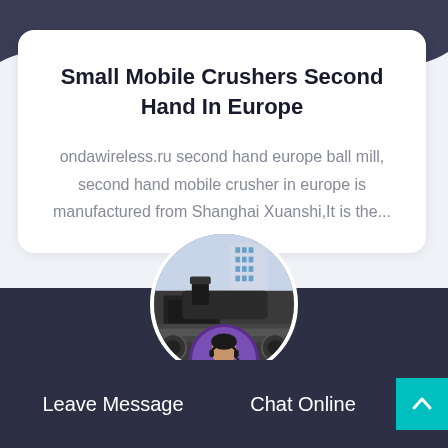[Figure (illustration): Dark navy wave shape decorating the top of the page background]
Small Mobile Crushers Second Hand In Europe
ondawireless.ru second hand europe ball mill, second hand mobile crusher in europe is manufactured from Shanghai Xuanshi,It is the...
[Figure (photo): Circular photo of industrial mobile crusher equipment]
[Figure (photo): Circular photo of a customer service agent wearing headset]
Leave Message   Chat Online